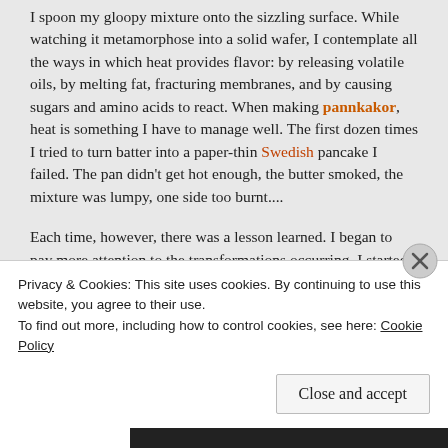I spoon my gloopy mixture onto the sizzling surface. While watching it metamorphose into a solid wafer, I contemplate all the ways in which heat provides flavor: by releasing volatile oils, by melting fat, fracturing membranes, and by causing sugars and amino acids to react. When making pannkakor, heat is something I have to manage well. The first dozen times I tried to turn batter into a paper-thin Swedish pancake I failed. The pan didn't get hot enough, the butter smoked, the mixture was lumpy, one side too burnt....
Each time, however, there was a lesson learned. I began to pay more attention to the transformations occurring. I started using all my senses. My palm hovering an inch from the pan to detect warmth; sniffing out the nutty aroma of the melting butter; listening to the hiss of the semiliquid mixture as it
Privacy & Cookies: This site uses cookies. By continuing to use this website, you agree to their use.
To find out more, including how to control cookies, see here: Cookie Policy
Close and accept